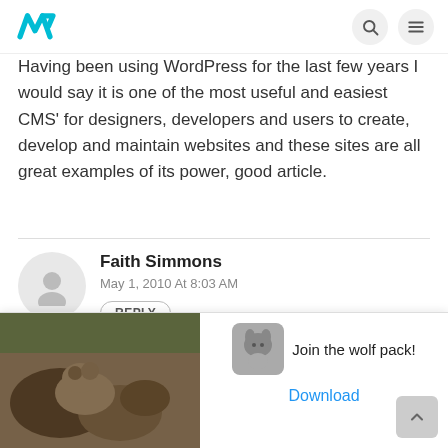W [logo] | search | menu
Having been using WordPress for the last few years I would say it is one of the most useful and easiest CMS' for designers, developers and users to create, develop and maintain websites and these sites are all great examples of its power, good article.
Faith Simmons
May 1, 2010 At 8:03 AM
REPLY
WordPress is the best blogging platform ever. It is much better than Typepad and blogspot.
[Figure (screenshot): Advertisement banner for wolf pack app with wolves image on left and 'Join the wolf pack!' text with wolf icon on right, and a Download button]